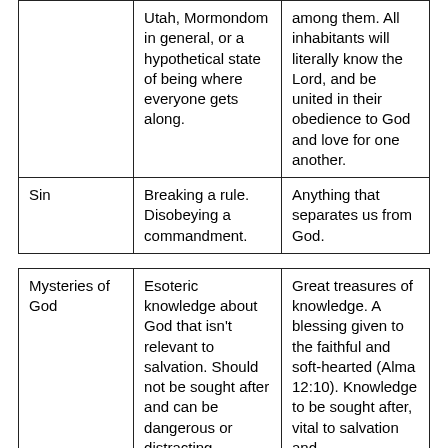|  | Utah, Mormondom in general, or a hypothetical state of being where everyone gets along. | among them. All inhabitants will literally know the Lord, and be united in their obedience to God and love for one another. |
| Sin | Breaking a rule. Disobeying a commandment. | Anything that separates us from God. |
| Mysteries of God | Esoteric knowledge about God that isn't relevant to salvation. Should not be sought after and can be dangerous or distracting. | Great treasures of knowledge. A blessing given to the faithful and soft-hearted (Alma 12:10). Knowledge to be sought after, vital to salvation and |